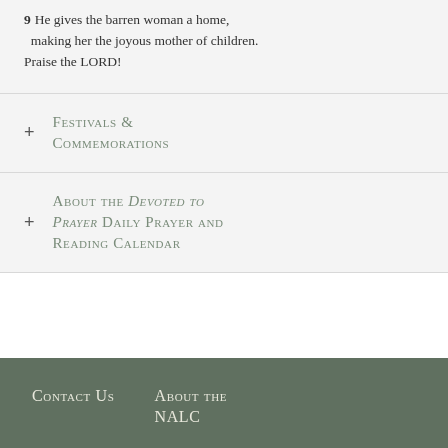9 He gives the barren woman a home, making her the joyous mother of children. Praise the LORD!
+ Festivals & Commemorations
+ About the Devoted to Prayer Daily Prayer and Reading Calendar
Contact Us   About the NALC